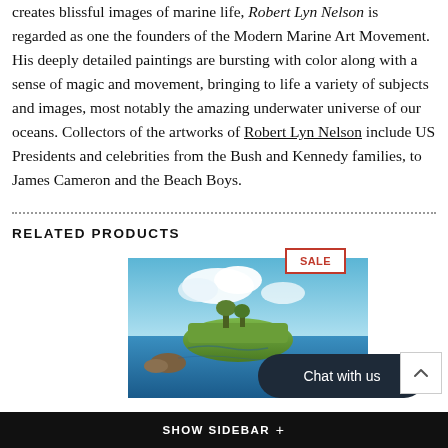creates blissful images of marine life, Robert Lyn Nelson is regarded as one the founders of the Modern Marine Art Movement. His deeply detailed paintings are bursting with color along with a sense of magic and movement, bringing to life a variety of subjects and images, most notably the amazing underwater universe of our oceans. Collectors of the artworks of Robert Lyn Nelson include US Presidents and celebrities from the Bush and Kennedy families, to James Cameron and the Beach Boys.
RELATED PRODUCTS
[Figure (photo): A landscape painting showing an island with rocky formations surrounded by blue water, with a blue sky and white clouds above. A 'SALE' badge appears in red and white at the top right of the image.]
Chat with us
SHOW SIDEBAR +